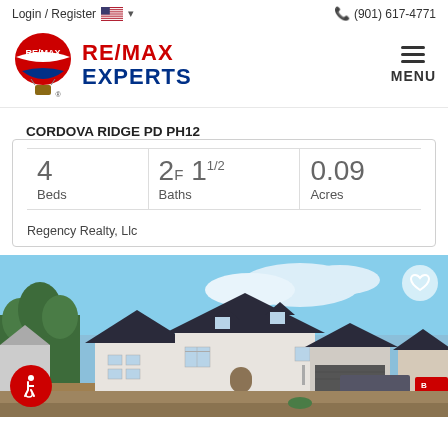Login / Register  (901) 617-4771
[Figure (logo): RE/MAX Experts logo with hot air balloon and text RE/MAX EXPERTS in red and blue]
MENU
CORDOVA RIDGE PD PH12
4 Beds  2F 1 1/2 Baths  0.09 Acres
Regency Realty, Llc
[Figure (photo): Exterior photo of a white brick house under construction with dark roof, multiple gables, blue sky background, accessibility icon in bottom left, heart icon in top right]